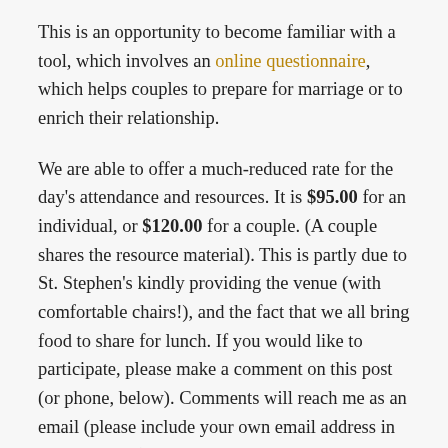This is an opportunity to become familiar with a tool, which involves an online questionnaire, which helps couples to prepare for marriage or to enrich their relationship.
We are able to offer a much-reduced rate for the day's attendance and resources. It is $95.00 for an individual, or $120.00 for a couple. (A couple shares the resource material). This is partly due to St. Stephen's kindly providing the venue (with comfortable chairs!), and the fact that we all bring food to share for lunch. If you would like to participate, please make a comment on this post (or phone, below). Comments will reach me as an email (please include your own email address in the comment!). Please note that you do not need to be